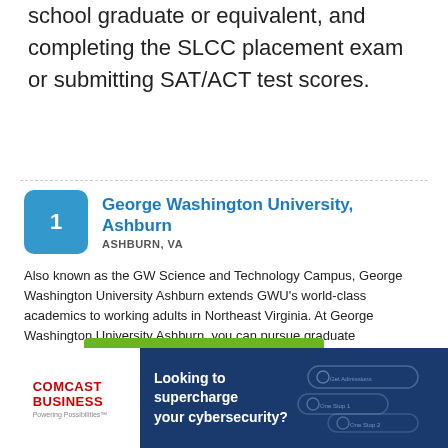school graduate or equivalent, and completing the SLCC placement exam or submitting SAT/ACT test scores.
George Washington University, Ashburn — ASHBURN, VA
Also known as the GW Science and Technology Campus, George Washington University Ashburn extends GWU's world-class academics to working adults in Northeast Virginia. At George Washington University Ashburn, you can pursue graduate academics... Learn More
Get Admissions Info
[Figure (infographic): Comcast Business advertisement banner with text 'Looking to supercharge your cybersecurity?' and graphic elements on dark blue background]